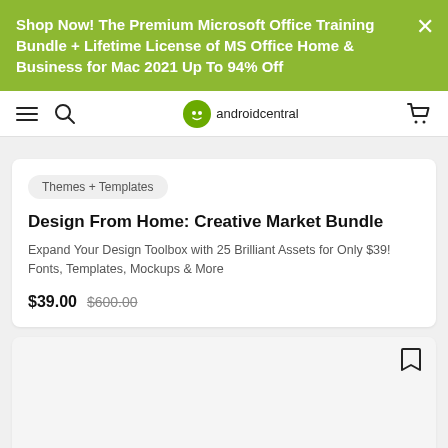Shop Now! The Premium Microsoft Office Training Bundle + Lifetime License of MS Office Home & Business for Mac 2021 Up To 94% Off
androidcentral navigation bar
Themes + Templates
Design From Home: Creative Market Bundle
Expand Your Design Toolbox with 25 Brilliant Assets for Only $39! Fonts, Templates, Mockups & More
$39.00  $600.00